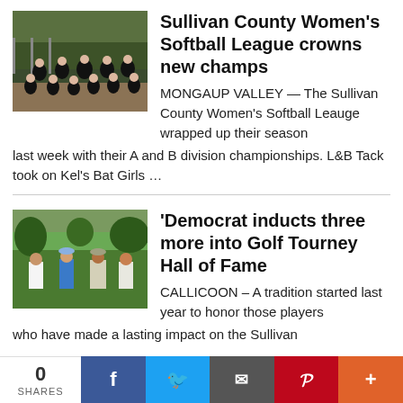[Figure (photo): Group photo of women's softball team in black uniforms posing on a field]
Sullivan County Women's Softball League crowns new champs
MONGAUP VALLEY — The Sullivan County Women's Softball Leauge wrapped up their season last week with their A and B division championships. L&B Tack took on Kel's Bat Girls …
[Figure (photo): Four older men standing on a golf course]
'Democrat inducts three more into Golf Tourney Hall of Fame
CALLICOON – A tradition started last year to honor those players who have made a lasting impact on the Sullivan
0 SHARES | Facebook | Twitter | Email | Pinterest | More